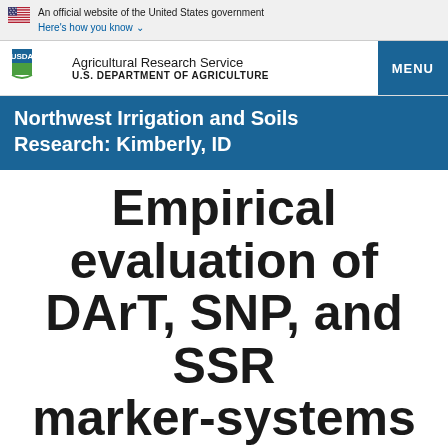An official website of the United States government Here's how you know
[Figure (logo): USDA Agricultural Research Service logo with flag and department name, and MENU button]
Northwest Irrigation and Soils Research: Kimberly, ID
Empirical evaluation of DArT, SNP, and SSR marker-systems for genotyping, clustering, and